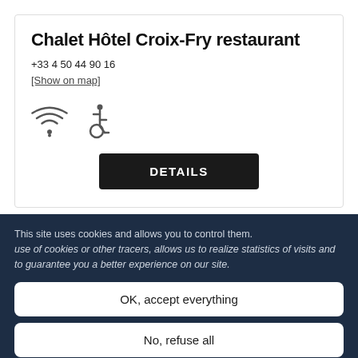Chalet Hôtel Croix-Fry restaurant
+33 4 50 44 90 16
[Show on map]
[Figure (illustration): WiFi icon and wheelchair accessibility icon]
DETAILS
This site uses cookies and allows you to control them. use of cookies or other tracers, allows us to realize statistics of visits and to guarantee you a better experience on our site.
OK, accept everything
No, refuse all
Personalize